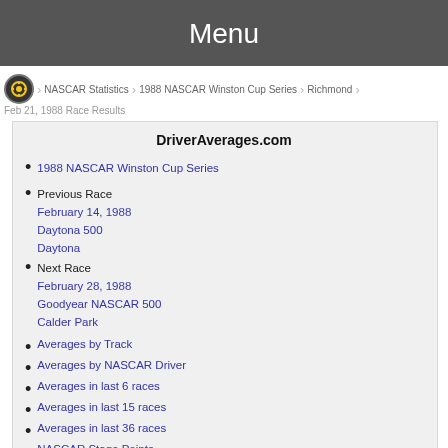Menu
NASCAR Statistics › 1988 NASCAR Winston Cup Series › Richmond
Feb 21, 1988 Race Results
DriverAverages.com
1988 NASCAR Winston Cup Series
Previous Race
February 14, 1988
Daytona 500
Daytona
Next Race
February 28, 1988
Goodyear NASCAR 500
Calder Park
Averages by Track
Averages by NASCAR Driver
Averages in last 6 races
Averages in last 15 races
Averages in last 36 races
NASCAR Stage Points
NASCAR Averages Database